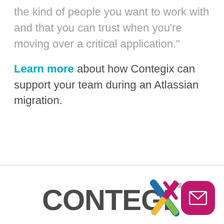the kind of people you want to work with and that you can trust when you're moving over a critical application.”
Learn more about how Contegix can support your team during an Atlassian migration.
[Figure (logo): CONTEGIX logo with colorful X at end, registered trademark symbol]
[Figure (other): Magenta rounded square email button with envelope icon]